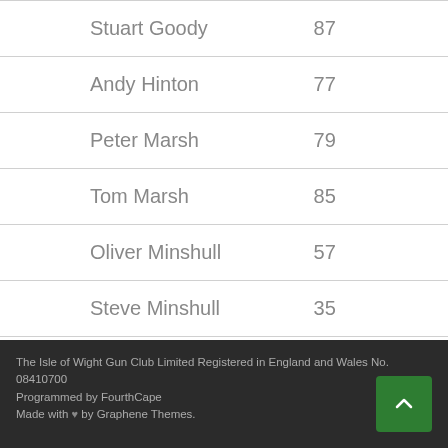| Name | Score |
| --- | --- |
| Stuart Goody | 87 |
| Andy Hinton | 77 |
| Peter Marsh | 79 |
| Tom Marsh | 85 |
| Oliver Minshull | 57 |
| Steve Minshull | 35 |
The Isle of Wight Gun Club Limited Registered in England and Wales No. 08410700
Programmed by FourthCape
Made with ♥ by Graphene Themes.